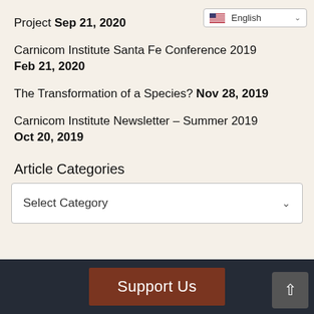[Figure (screenshot): Language selector dropdown showing English with US flag icon]
Project Sep 21, 2020
Carnicom Institute Santa Fe Conference 2019 Feb 21, 2020
The Transformation of a Species? Nov 28, 2019
Carnicom Institute Newsletter – Summer 2019 Oct 20, 2019
Article Categories
[Figure (screenshot): Select Category dropdown box]
Support Us